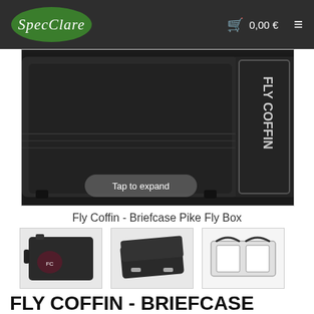SpecClare — 0,00 €
[Figure (photo): Close-up of a black fly box / briefcase with decorative lettering, partially shown, with a 'Tap to expand' overlay button]
Fly Coffin - Briefcase Pike Fly Box
[Figure (photo): Thumbnail 1: Black briefcase fly box with logo, front view]
[Figure (photo): Thumbnail 2: Black briefcase fly box, slightly angled closed view]
[Figure (photo): Thumbnail 3: Interior foam insert/frame of the fly box]
FLY COFFIN - BRIEFCASE PIKE FLY BOX
Product category: Accessories · Fly Boxes · New Arrivals